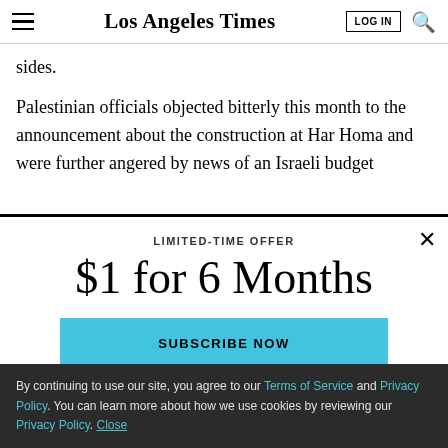Los Angeles Times
sides.
Palestinian officials objected bitterly this month to the announcement about the construction at Har Homa and were further angered by news of an Israeli budget
LIMITED-TIME OFFER
$1 for 6 Months
SUBSCRIBE NOW
By continuing to use our site, you agree to our Terms of Service and Privacy Policy. You can learn more about how we use cookies by reviewing our Privacy Policy. Close